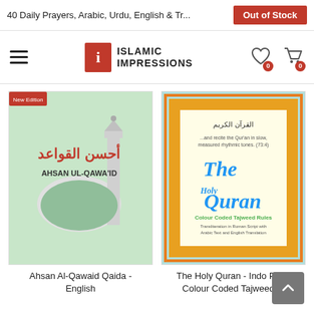40 Daily Prayers, Arabic, Urdu, English & Tr...
Out of Stock
[Figure (logo): Islamic Impressions logo with red square icon and text]
[Figure (photo): Book cover: Ahsan Al-Qawaid Qaida - English, showing mosque and Arabic text]
Ahsan Al-Qawaid Qaida - English
[Figure (photo): Book cover: The Holy Quran - Indo Pak - Colour Coded Tajweed, colourful decorated Quran]
The Holy Quran - Indo Pak - Colour Coded Tajweed ...